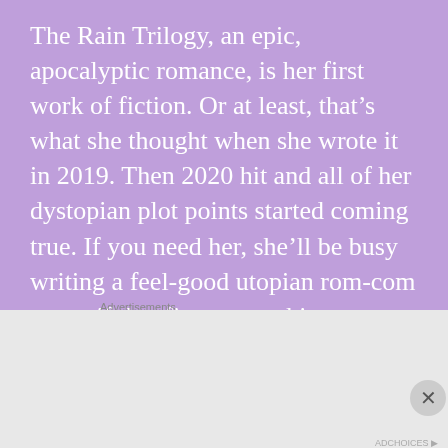The Rain Trilogy, an epic, apocalyptic romance, is her first work of fiction. Or at least, that’s what she thought when she wrote it in 2019. Then 2020 hit and all of her dystopian plot points started coming true. If you need her, she’ll be busy writing a feel-good utopian rom-com to see if that fixes everything.
[Figure (photo): A person with pink/red hair, head down, photographed from above on a light background]
Advertisements
[Figure (screenshot): DuckDuckGo advertisement banner: Search, browse, and email with more privacy. All in One Free App. DuckDuckGo logo on dark background.]